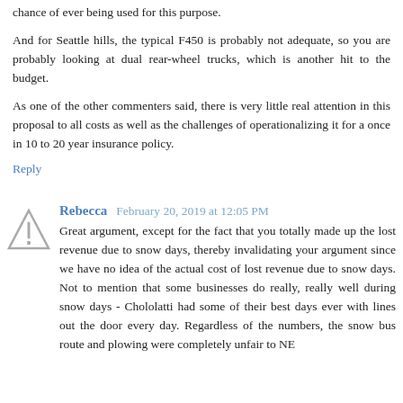chance of ever being used for this purpose.
And for Seattle hills, the typical F450 is probably not adequate, so you are probably looking at dual rear-wheel trucks, which is another hit to the budget.
As one of the other commenters said, there is very little real attention in this proposal to all costs as well as the challenges of operationalizing it for a once in 10 to 20 year insurance policy.
Reply
Rebecca  February 20, 2019 at 12:05 PM
Great argument, except for the fact that you totally made up the lost revenue due to snow days, thereby invalidating your argument since we have no idea of the actual cost of lost revenue due to snow days. Not to mention that some businesses do really, really well during snow days - Chololatti had some of their best days ever with lines out the door every day. Regardless of the numbers, the snow bus route and plowing were completely unfair to NE